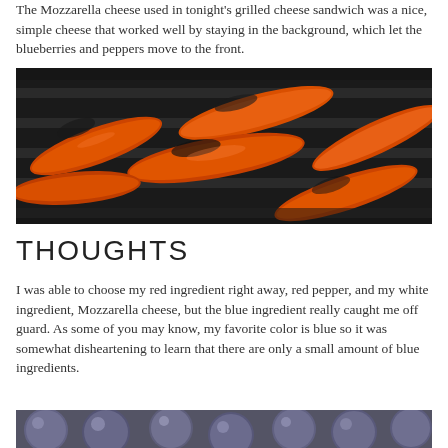The Mozzarella cheese used in tonight's grilled cheese sandwich was a nice, simple cheese that worked well by staying in the background, which let the blueberries and peppers move to the front.
[Figure (photo): Close-up photo of red/orange peppers being grilled on a grill grate, with char marks and glistening oil]
THOUGHTS
I was able to choose my red ingredient right away, red pepper, and my white ingredient, Mozzarella cheese, but the blue ingredient really caught me off guard. As some of you may know, my favorite color is blue so it was somewhat disheartening to learn that there are only a small amount of blue ingredients.
[Figure (photo): Close-up photo of blueberries with a silvery-blue frosted appearance]